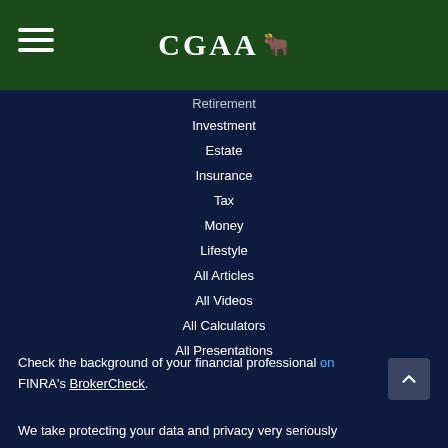[Figure (logo): CGAA logo with bull icon on dark green header bar with hamburger menu icon]
Retirement
Investment
Estate
Insurance
Tax
Money
Lifestyle
All Articles
All Videos
All Calculators
All Presentations
Check the background of your financial professional on FINRA's BrokerCheck.
We take protecting your data and privacy very seriously